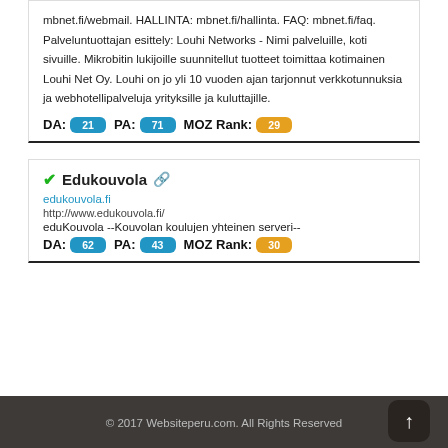mbnet.fi/webmail. HALLINTA: mbnet.fi/hallinta. FAQ: mbnet.fi/faq. Palveluntuottajan esittely: Louhi Networks - Nimi palveluille, koti sivuille. Mikrobitin lukijoille suunnitellut tuotteet toimittaa kotimainen Louhi Net Oy. Louhi on jo yli 10 vuoden ajan tarjonnut verkkotunnuksia ja webhotellipalveluja yrityksille ja kuluttajille.
DA: 21 PA: 71 MOZ Rank: 29
✔Edukouvola 🔗
edukouvola.fi
http://www.edukouvola.fi/
eduKouvola --Kouvolan koulujen yhteinen serveri--
DA: 62 PA: 43 MOZ Rank: 30
© 2017 Websiteperu.com. All Rights Reserved